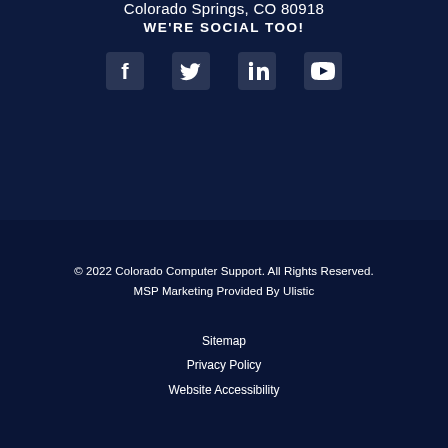Colorado Springs, CO 80918
WE'RE SOCIAL TOO!
[Figure (illustration): Social media icons: Facebook, Twitter, LinkedIn, YouTube]
© 2022 Colorado Computer Support. All Rights Reserved. MSP Marketing Provided By Ulistic
Sitemap
Privacy Policy
Website Accessibility